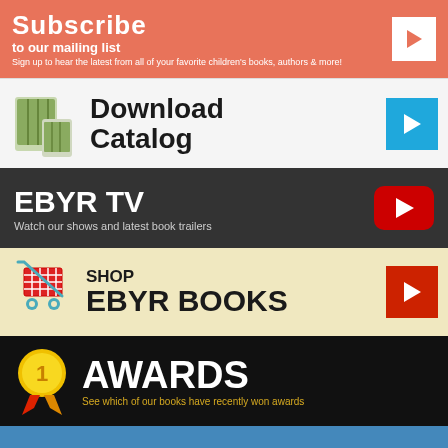[Figure (infographic): Subscribe to mailing list banner — coral/salmon background with white text and white arrow button]
[Figure (infographic): Download Catalog banner — white background with book images, bold text, and blue arrow button]
[Figure (infographic): EBYR TV banner — dark grey background with white text and YouTube-style red play button]
[Figure (infographic): Shop EBYR Books banner — cream/yellow background with shopping cart icon, bold text, and red arrow button]
[Figure (infographic): Awards banner — black background with gold medal icon, white AWARDS text, and gold subtitle]
[Figure (infographic): Partial blue banner at bottom]